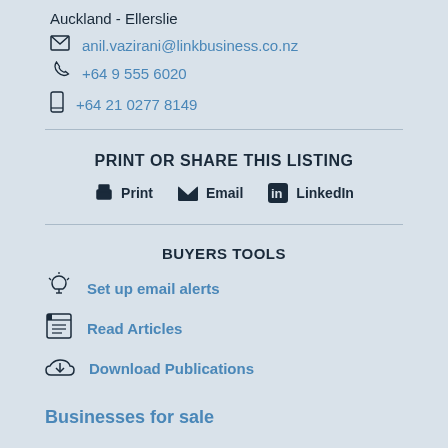Auckland - Ellerslie
anil.vazirani@linkbusiness.co.nz
+64 9 555 6020
+64 21 0277 8149
PRINT OR SHARE THIS LISTING
Print   Email   LinkedIn
BUYERS TOOLS
Set up email alerts
Read Articles
Download Publications
Businesses for sale